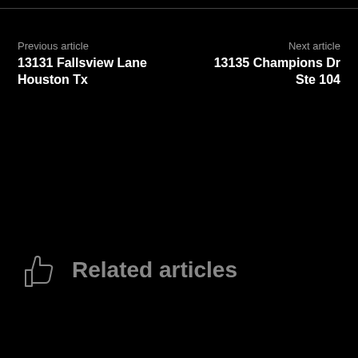Previous article
13131 Fallsview Lane Houston Tx
Next article
13135 Champions Dr Ste 104
Related articles